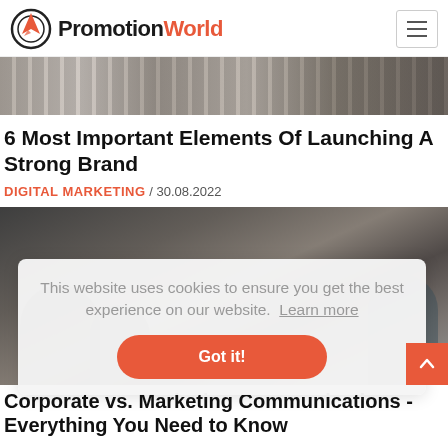PromotionWorld
[Figure (photo): Laptop keyboard and tablet on a desk, banner hero image]
6 Most Important Elements Of Launching A Strong Brand
DIGITAL MARKETING / 30.08.2022
[Figure (photo): People working around a table with laptops, article header photo]
This website uses cookies to ensure you get the best experience on our website. Learn more
Got it!
Corporate vs. Marketing Communications - Everything You Need to Know